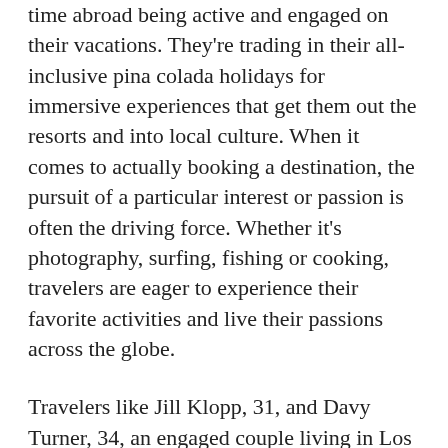time abroad being active and engaged on their vacations. They're trading in their all-inclusive pina colada holidays for immersive experiences that get them out the resorts and into local culture. When it comes to actually booking a destination, the pursuit of a particular interest or passion is often the driving force. Whether it's photography, surfing, fishing or cooking, travelers are eager to experience their favorite activities and live their passions across the globe.
Travelers like Jill Klopp, 31, and Davy Turner, 34, an engaged couple living in Los Angeles who have spent the last few months planning their honeymoon to the islands of Southern Thailand. They were drawn to this part of Asia for the unique culture, delicious food and world-class scuba diving. “We scuba dive every place we travel…it’s our passion and one of the common interests Davy and I share,” says Klopp, who’s been diving since the age of 11 thanks to her parents who are scuba